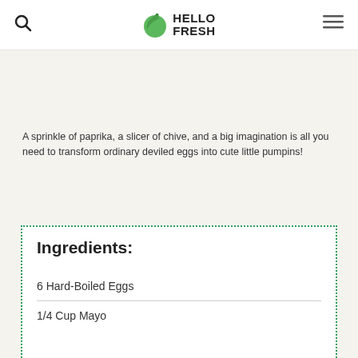HelloFresh
A sprinkle of paprika, a slicer of chive, and a big imagination is all you need to transform ordinary deviled eggs into cute little pumpins!
Ingredients:
6 Hard-Boiled Eggs
1/4 Cup Mayo